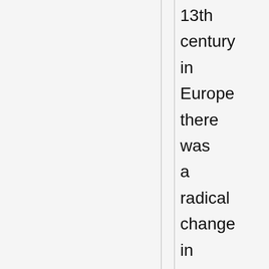13th century in Europe there was a radical change in the rate of new inventions,